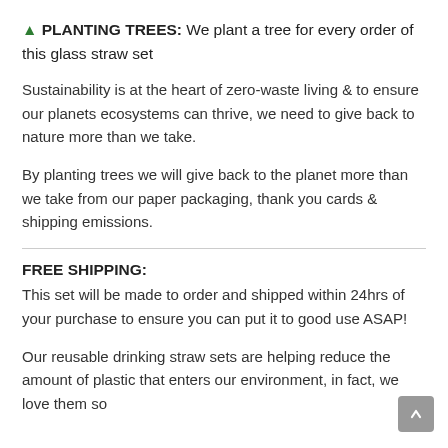🌲 PLANTING TREES: We plant a tree for every order of this glass straw set
Sustainability is at the heart of zero-waste living & to ensure our planets ecosystems can thrive, we need to give back to nature more than we take.
By planting trees we will give back to the planet more than we take from our paper packaging, thank you cards & shipping emissions.
FREE SHIPPING:
This set will be made to order and shipped within 24hrs of your purchase to ensure you can put it to good use ASAP!
Our reusable drinking straw sets are helping reduce the amount of plastic that enters our environment, in fact, we love them so much that we will give you your money back if you don't love it too!